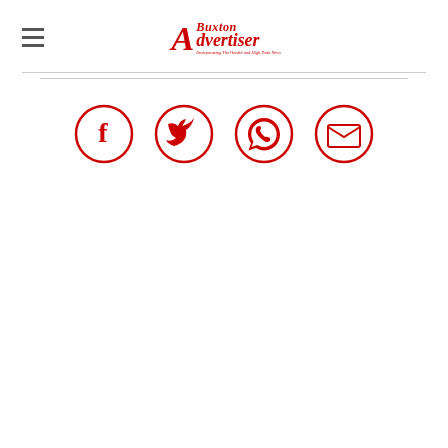Buxton Advertiser — Incorporating The Herald and High Peak News
[Figure (logo): Buxton Advertiser logo in red italic serif font with tagline 'Incorporating The Herald and High Peak News']
[Figure (infographic): Four red circular social media icons: Facebook (f), Twitter (bird), WhatsApp (phone handset), Email (envelope)]